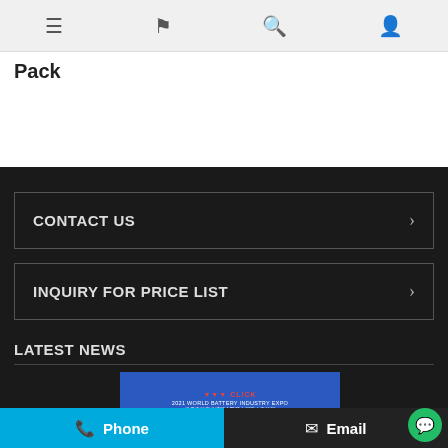Navigation bar with menu, flag, search, and user icons
Pack
CONTACT US
INQUIRY FOR PRICE LIST
LATEST NEWS
[Figure (photo): 2021 World Battery Industry Expo banner showing VTC POWER CO.,LTD booth badge]
Phone | Email